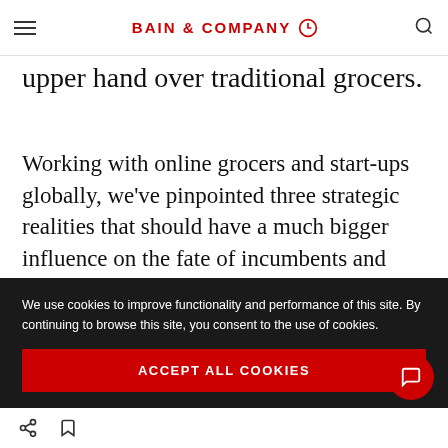BAIN & COMPANY
upper hand over traditional grocers.
Working with online grocers and start-ups globally, we've pinpointed three strategic realities that should have a much bigger influence on the fate of incumbents and disruptors alike as they race to scale up capacity to...
We use cookies to improve functionality and performance of this site. By continuing to browse this site, you consent to the use of cookies.
ACCEPT ALL COOKIES